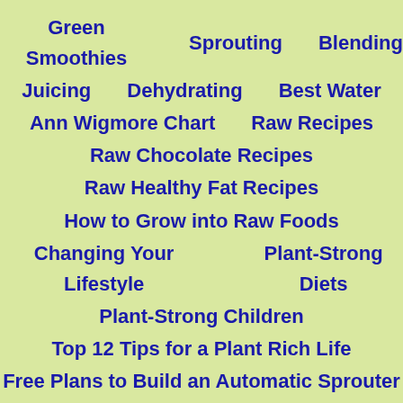Green Smoothies   Sprouting   Blending
Juicing   Dehydrating   Best Water
Ann Wigmore Chart   Raw Recipes
Raw Chocolate Recipes
Raw Healthy Fat Recipes
How to Grow into Raw Foods
Changing Your Lifestyle   Plant-Strong Diets
Plant-Strong Children
Top 12 Tips for a Plant Rich Life
Free Plans to Build an Automatic Sprouter
Healing Teeth & Gums   Glowing Soft Skin
VegHealth Mastery Program